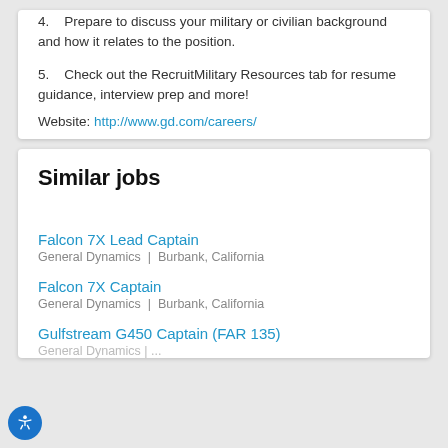4.  Prepare to discuss your military or civilian background and how it relates to the position.
5.  Check out the RecruitMilitary Resources tab for resume guidance, interview prep and more!
Website: http://www.gd.com/careers/
Similar jobs
Falcon 7X Lead Captain
General Dynamics | Burbank, California
Falcon 7X Captain
General Dynamics | Burbank, California
Gulfstream G450 Captain (FAR 135)
General Dynamics | ...